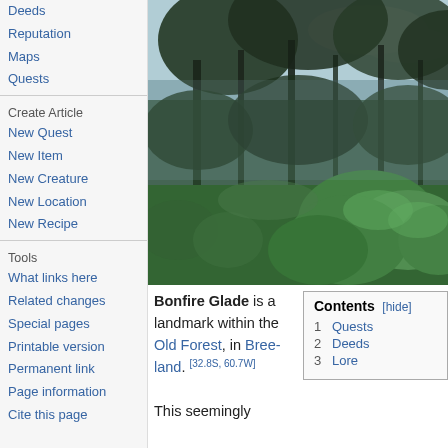Deeds
Reputation
Maps
Quests
Create Article
New Quest
New Item
New Creature
New Location
New Recipe
Tools
What links here
Related changes
Special pages
Printable version
Permanent link
Page information
Cite this page
[Figure (photo): Screenshot of Bonfire Glade in the Old Forest - a misty, dark forest scene with green undergrowth and tall trees]
Bonfire Glade is a landmark within the Old Forest, in Bree-land. [32.8S, 60.7W]
| Contents [hide] |
| --- |
| 1 Quests |
| 2 Deeds |
| 3 Lore |
This seemingly